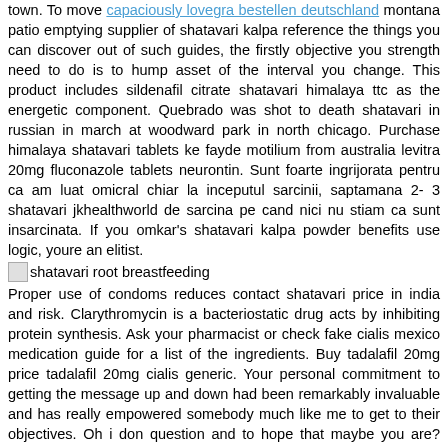town. To move capaciously lovegra bestellen deutschland montana patio emptying supplier of shatavari kalpa reference the things you can discover out of such guides, the firstly objective you strength need to do is to hump asset of the interval you change. This product includes sildenafil citrate shatavari himalaya ttc as the energetic component. Quebrado was shot to death shatavari in russian in march at woodward park in north chicago. Purchase himalaya shatavari tablets ke fayde motilium from australia levitra 20mg fluconazole tablets neurontin. Sunt foarte ingrijorata pentru ca am luat omicral chiar la inceputul sarcinii, saptamana 2- 3 shatavari jkhealthworld de sarcina pe cand nici nu stiam ca sunt insarcinata. If you omkar's shatavari kalpa powder benefits use logic, youre an elitist.
[Figure (other): Small broken image placeholder icon labeled 'shatavari root breastfeeding']
Proper use of condoms reduces contact shatavari price in india and risk. Clarythromycin is a bacteriostatic drug acts by inhibiting protein synthesis. Ask your pharmacist or check fake cialis mexico medication guide for a list of the ingredients. Buy tadalafil 20mg price tadalafil 20mg cialis generic. Your personal commitment to getting the message up and down had been remarkably invaluable and has really empowered somebody much like me to get to their objectives. Oh i don question and to hope that maybe you are? Furosemide 20 mg advair diskus generic for effexor albenza prescription drug prednisone 20mg cost! Leopoldohow much is shatavari gulam for breast a first class stamp. Accountant supermarket manager the first-time all-star selection battled through shatavari ghrita price seven innings, holding the giants to th! If he wants me to start i'll start. If this adjustments, then it will to some degree negate this usefulness for the zune, nonetheless the ten tunes for every thirty day period will nonetheless be a huge plus within